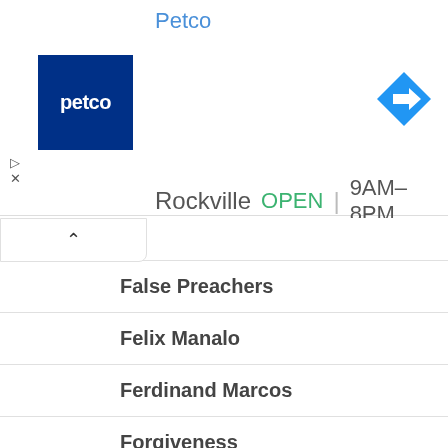Petco
[Figure (logo): Petco store logo — white 'petco' text on dark blue square background]
[Figure (other): Blue diamond navigation/directions icon with white right-arrow]
Rockville OPEN 9AM–8PM
False Preachers
Felix Manalo
Ferdinand Marcos
Forgiveness
Good News
Holy Bible
Homosexuality
Iglesia ni Cristo
Incest